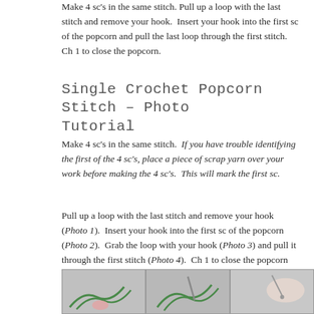Make 4 sc's in the same stitch. Pull up a loop with the last stitch and remove your hook. Insert your hook into the first sc of the popcorn and pull the last loop through the first stitch. Ch 1 to close the popcorn.
Single Crochet Popcorn Stitch – Photo Tutorial
Make 4 sc's in the same stitch. If you have trouble identifying the first of the 4 sc's, place a piece of scrap yarn over your work before making the 4 sc's. This will mark the first sc.
Pull up a loop with the last stitch and remove your hook (Photo 1). Insert your hook into the first sc of the popcorn (Photo 2). Grab the loop with your hook (Photo 3) and pull it through the first stitch (Photo 4). Ch 1 to close the popcorn (Photo 5).
[Figure (photo): Three crochet step photos labeled 1, 2, 3 showing hands working with a crochet hook and green yarn]